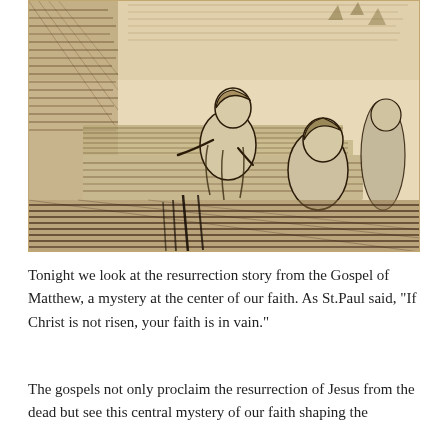[Figure (illustration): A sepia-toned ink sketch showing figures near what appears to be a tomb or burial site. The drawing uses heavy crosshatching and expressive lines typical of Rembrandt-style etchings, depicting robed figures examining or attending to a horizontal surface.]
Tonight we look at the resurrection story from the Gospel of Matthew, a mystery at the center of our faith. As St.Paul said, “If Christ is not risen, your faith is in vain.”
The gospels not only proclaim the resurrection of Jesus from the dead but see this central mystery of our faith shaping the